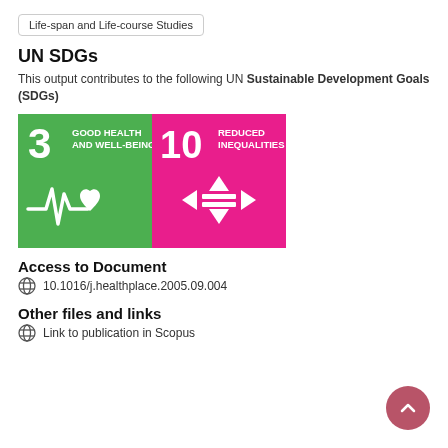Life-span and Life-course Studies
UN SDGs
This output contributes to the following UN Sustainable Development Goals (SDGs)
[Figure (infographic): Two UN SDG icons side by side: SDG 3 Good Health and Well-being (green background with heartbeat/health icon) and SDG 10 Reduced Inequalities (pink/magenta background with arrows/equality icon)]
Access to Document
10.1016/j.healthplace.2005.09.004
Other files and links
Link to publication in Scopus